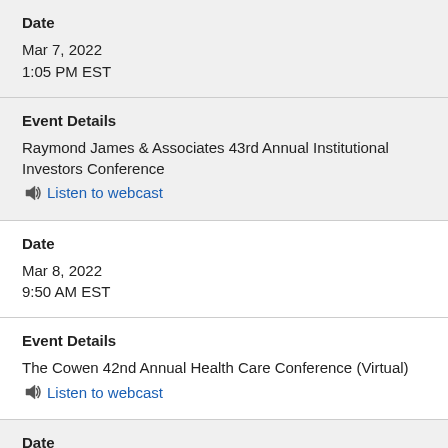Date
Mar 7, 2022
1:05 PM EST
Event Details
Raymond James & Associates 43rd Annual Institutional Investors Conference
Listen to webcast
Date
Mar 8, 2022
9:50 AM EST
Event Details
The Cowen 42nd Annual Health Care Conference (Virtual)
Listen to webcast
Date
May 5, 2022